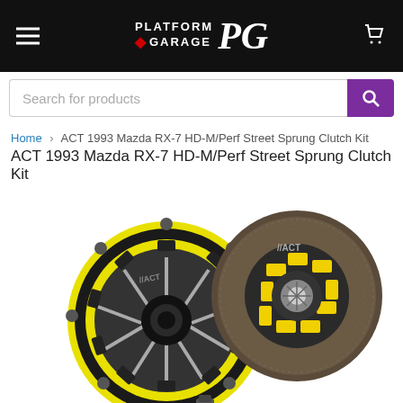Platform Garage PG
Search for products
Home > ACT 1993 Mazda RX-7 HD-M/Perf Street Sprung Clutch Kit
ACT 1993 Mazda RX-7 HD-M/Perf Street Sprung Clutch Kit
[Figure (photo): ACT clutch kit showing yellow pressure plate and clutch disc for 1993 Mazda RX-7, with a small cylindrical alignment tool at the bottom]